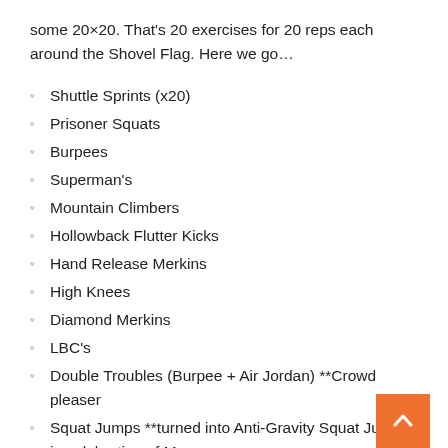some 20×20. That's 20 exercises for 20 reps each around the Shovel Flag. Here we go…
Shuttle Sprints (x20)
Prisoner Squats
Burpees
Superman's
Mountain Climbers
Hollowback Flutter Kicks
Hand Release Merkins
High Knees
Diamond Merkins
LBC's
Double Troubles (Burpee + Air Jordan) **Crowd pleaser
Squat Jumps **turned into Anti-Gravity Squat Jumps in celebration of Moonman
Smurf Jacks